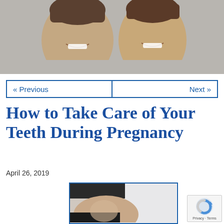[Figure (photo): Two smiling men photographed from shoulders up against a light gray background]
« Previous   Next »
How to Take Care of Your Teeth During Pregnancy
April 26, 2019
[Figure (photo): Close-up photo of a pregnant woman's bare belly, shown from side angle]
Privacy · Terms